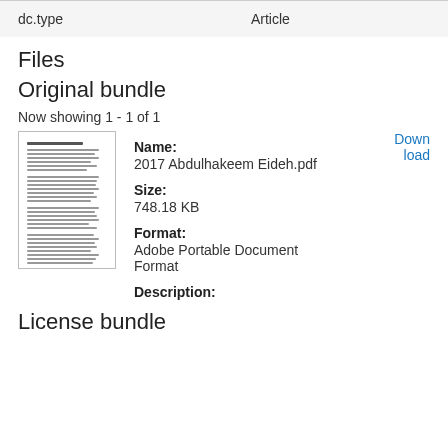|  |  |
| --- | --- |
| dc.type | Article |
Files
Original bundle
Now showing 1 - 1 of 1
[Figure (other): Thumbnail of PDF document page]
Name:
2017 Abdulhakeem Eideh.pdf
Down
load
Size:
748.18 KB
Format:
Adobe Portable Document Format
Description:
License bundle